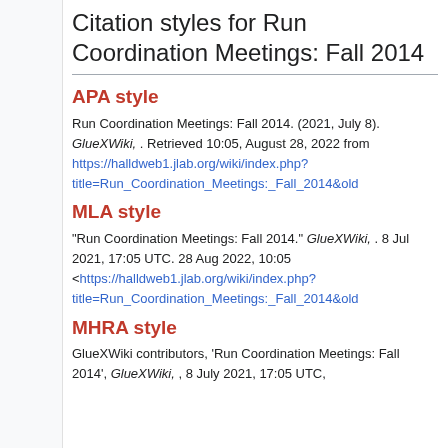Citation styles for Run Coordination Meetings: Fall 2014
APA style
Run Coordination Meetings: Fall 2014. (2021, July 8). GlueXWiki, . Retrieved 10:05, August 28, 2022 from https://halldweb1.jlab.org/wiki/index.php?title=Run_Coordination_Meetings:_Fall_2014&old
MLA style
"Run Coordination Meetings: Fall 2014." GlueXWiki, . 8 Jul 2021, 17:05 UTC. 28 Aug 2022, 10:05 <https://halldweb1.jlab.org/wiki/index.php?title=Run_Coordination_Meetings:_Fall_2014&old
MHRA style
GlueXWiki contributors, 'Run Coordination Meetings: Fall 2014', GlueXWiki, , 8 July 2021, 17:05 UTC,